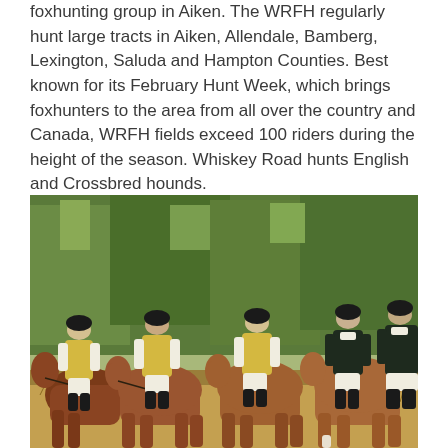foxhunting group in Aiken. The WRFH regularly hunt large tracts in Aiken, Allendale, Bamberg, Lexington, Saluda and Hampton Counties. Best known for its February Hunt Week, which brings foxhunters to the area from all over the country and Canada, WRFH fields exceed 100 riders during the height of the season. Whiskey Road hunts English and Crossbred hounds.
[Figure (photo): Group of equestrians on horseback dressed in foxhunting attire — yellow vests, white shirts, black jackets, black helmets — lined up on a dirt path in front of pine trees.]